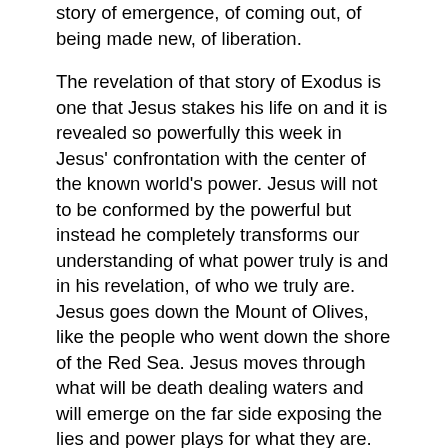story of emergence, of coming out, of being made new, of liberation.
The revelation of that story of Exodus is one that Jesus stakes his life on and it is revealed so powerfully this week in Jesus' confrontation with the center of the known world's power. Jesus will not to be conformed by the powerful but instead he completely transforms our understanding of what power truly is and in his revelation, of who we truly are.
Jesus goes down the Mount of Olives, like the people who went down the shore of the Red Sea. Jesus moves through what will be death dealing waters and will emerge on the far side exposing the lies and power plays for what they are. That Empire does not define who we are, God does. And once we see that, Empire no longer has power over us. We are free.
For we too live amidst the trappings of empire. We hear the rhetoric of violence and witness its savage impact. We see those who struggle in a system that